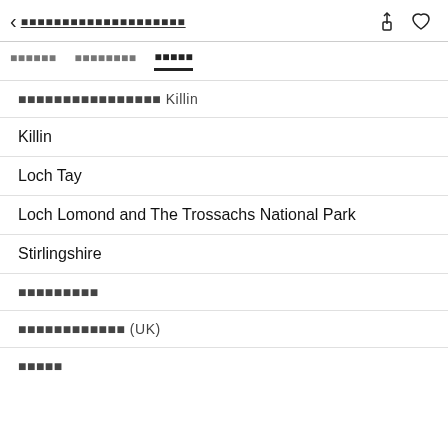< [CJK text] (share) (heart)
[tab 1 CJK]
[tab 2 CJK]
[tab 3 CJK] (active)
[CJK text] Killin
Killin
Loch Tay
Loch Lomond and The Trossachs National Park
Stirlingshire
[CJK text]
[CJK text] (UK)
[CJK text]